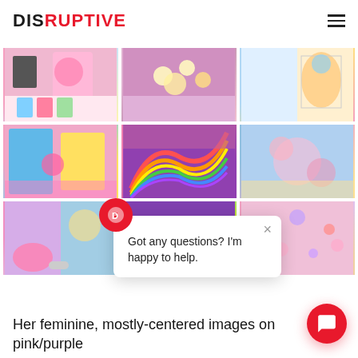DISRUPTIVE
[Figure (photo): A 3x3 grid of colorful, feminine lifestyle photos featuring pink rooms, rainbow decorations, a woman with teal hair in a colorful outfit, and vibrant decor.]
Got any questions? I'm happy to help.
Her feminine, mostly-centered images on pink/purple